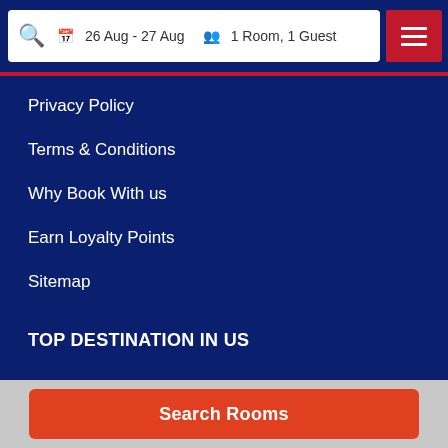26 Aug - 27 Aug | 1 Room, 1 Guest
Privacy Policy
Terms & Conditions
Why Book With us
Earn Loyalty Points
Sitemap
TOP DESTINATION IN US
Chicago (IL) Hotels
Boston (MA) Hotels
Maui Hawaii Hotels
Search Rooms